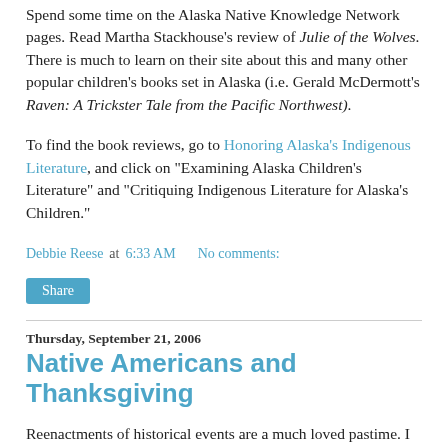Spend some time on the Alaska Native Knowledge Network pages. Read Martha Stackhouse's review of Julie of the Wolves. There is much to learn on their site about this and many other popular children's books set in Alaska (i.e. Gerald McDermott's Raven: A Trickster Tale from the Pacific Northwest).
To find the book reviews, go to Honoring Alaska's Indigenous Literature, and click on "Examining Alaska Children's Literature" and "Critiquing Indigenous Literature for Alaska's Children."
Debbie Reese at 6:33 AM   No comments:
Share
Thursday, September 21, 2006
Native Americans and Thanksgiving
Reenactments of historical events are a much loved pastime. I first came across one 12 years ago in Illinois. On a field